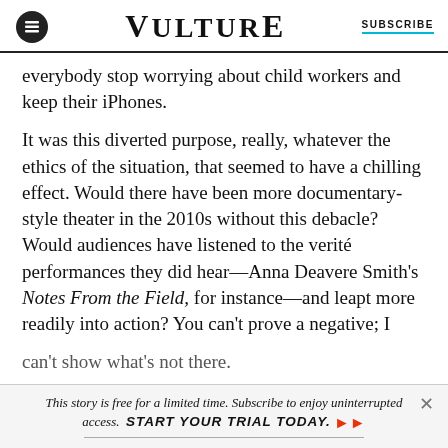VULTURE | SUBSCRIBE
everybody stop worrying about child workers and keep their iPhones.
It was this diverted purpose, really, whatever the ethics of the situation, that seemed to have a chilling effect. Would there have been more documentary-style theater in the 2010s without this debacle? Would audiences have listened to the verité performances they did hear—Anna Deavere Smith's Notes From the Field, for instance—and leapt more readily into action? You can't prove a negative; I can't show what's not there.
This story is free for a limited time. Subscribe to enjoy uninterrupted access. START YOUR TRIAL TODAY. ▶▶